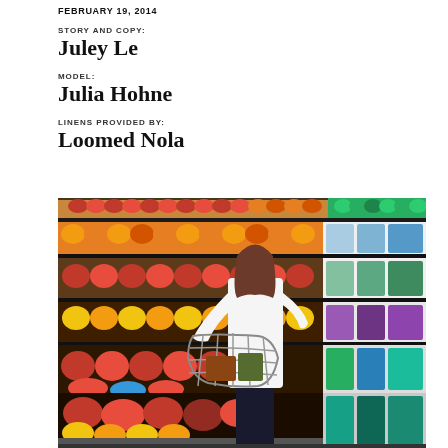FEBRUARY 19, 2014
STORY AND COPY:
Juley Le
MODEL:
Julia Hohne
LINENS PROVIDED BY:
Loomed Nola
[Figure (photo): A woman with brown hair shopping in a grocery store produce section, holding an item from the shelf. She carries a wire shopping basket. Colorful fruits and vegetables fill the shelves behind her, with packaged greens on the right side.]